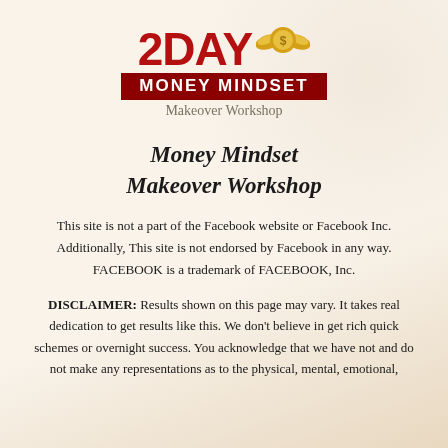[Figure (logo): 2DAY Money Mindset Makeover Workshop logo with red bold text, dark red banner, and a coin with wings graphic]
Money Mindset Makeover Workshop
This site is not a part of the Facebook website or Facebook Inc. Additionally, This site is not endorsed by Facebook in any way. FACEBOOK is a trademark of FACEBOOK, Inc.
DISCLAIMER: Results shown on this page may vary. It takes real dedication to get results like this. We don’t believe in get rich quick schemes or overnight success. You acknowledge that we have not and do not make any representations as to the physical, mental, emotional,